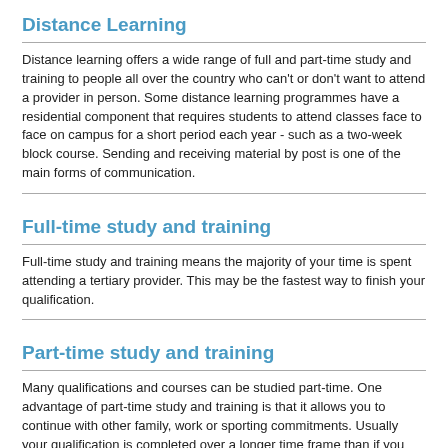Distance Learning
Distance learning offers a wide range of full and part-time study and training to people all over the country who can't or don't want to attend a provider in person. Some distance learning programmes have a residential component that requires students to attend classes face to face on campus for a short period each year - such as a two-week block course. Sending and receiving material by post is one of the main forms of communication.
Full-time study and training
Full-time study and training means the majority of your time is spent attending a tertiary provider. This may be the fastest way to finish your qualification.
Part-time study and training
Many qualifications and courses can be studied part-time. One advantage of part-time study and training is that it allows you to continue with other family, work or sporting commitments. Usually your qualification is completed over a longer time frame than if you studied full time.
Summer school